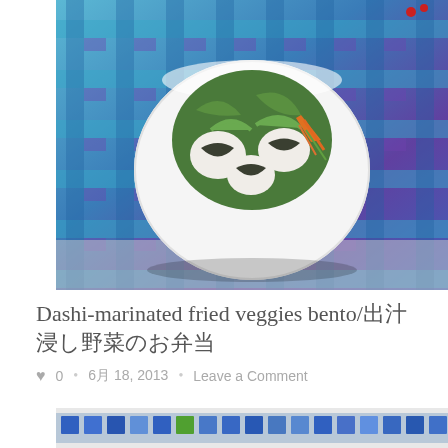[Figure (photo): A white bowl filled with onigiri rice balls wrapped in nori seaweed and fresh greens including lettuce, carrot, and other vegetables, placed on a blue and purple plaid cloth napkin on a light gray surface.]
Dashi-marinated fried veggies bento/出汁浸し野菜のお弁当
♥ 0 • 6月 18, 2013 • Leave a Comment
[Figure (photo): Partial view of a second photo showing blue and colorful mosaic or tiled pattern at the bottom of the page.]